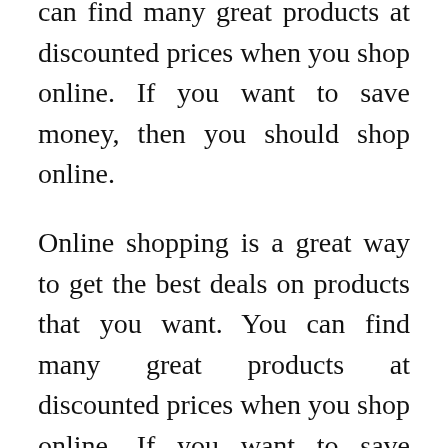can find many great products at discounted prices when you shop online. If you want to save money, then you should shop online.
Online shopping is a great way to get the best deals on products that you want. You can find many great products at discounted prices when you shop online. If you want to save money, then you should shop online.
4. You Can Save Time: Online shopping is a great way to save time. You can shop from the comfort of your own home, and you don't have to waste